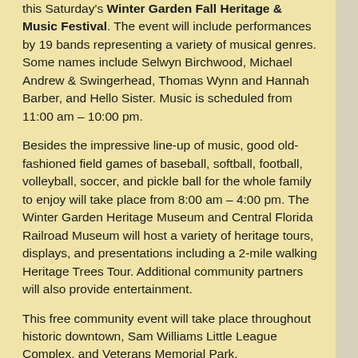this Saturday's Winter Garden Fall Heritage & Music Festival. The event will include performances by 19 bands representing a variety of musical genres. Some names include Selwyn Birchwood, Michael Andrew & Swingerhead, Thomas Wynn and Hannah Barber, and Hello Sister. Music is scheduled from 11:00 am – 10:00 pm.
Besides the impressive line-up of music, good old-fashioned field games of baseball, softball, football, volleyball, soccer, and pickle ball for the whole family to enjoy will take place from 8:00 am – 4:00 pm. The Winter Garden Heritage Museum and Central Florida Railroad Museum will host a variety of heritage tours, displays, and presentations including a 2-mile walking Heritage Trees Tour. Additional community partners will also provide entertainment.
This free community event will take place throughout historic downtown, Sam Williams Little League Complex, and Veterans Memorial Park.
Click here for information including music and activity schedules.
Saturday, November 6
8:00 am – 10:00 pm
Historic Downtown, Sam Williams Little League Complex, Veterans Memorial Park